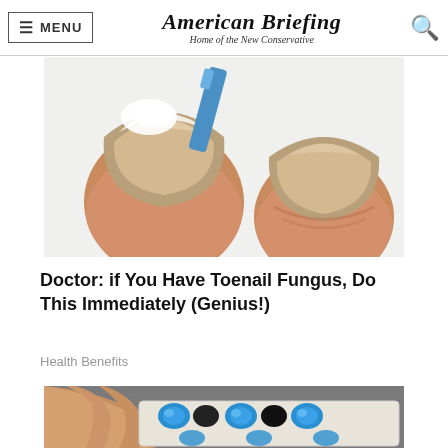American Briefing — Home of the New Conservative
[Figure (photo): Close-up of toenails with fungus being treated with a blue applicator on a white fluffy background]
Doctor: if You Have Toenail Fungus, Do This Immediately (Genius!)
Health Benefits
[Figure (photo): Hand holding a blister pack of blue and black pills]